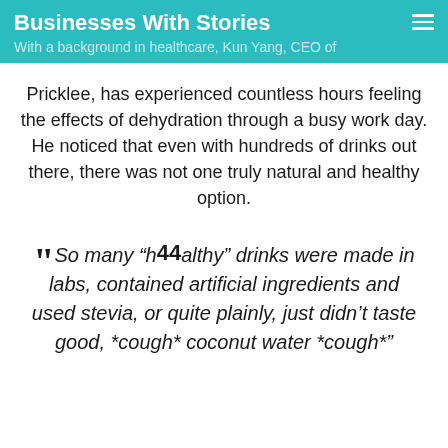Businesses With Stories
With a background in healthcare, Kun Yang, CEO of
Pricklee, has experienced countless hours feeling the effects of dehydration through a busy work day. He noticed that even with hundreds of drinks out there, there was not one truly natural and healthy option.
“So many “healthy” drinks were made in labs, contained artificial ingredients and used stevia, or quite plainly, just didn’t taste good, *cough* coconut water *cough*”